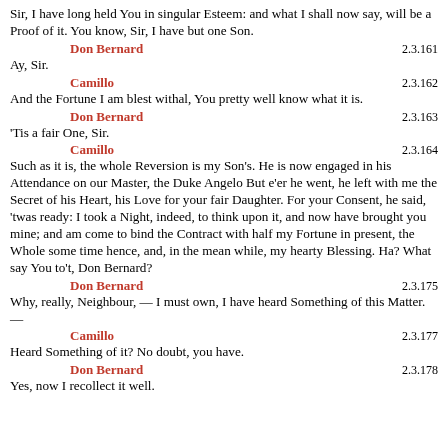Sir, I have long held You in singular Esteem: and what I shall now say, will be a Proof of it. You know, Sir, I have but one Son.
Don Bernard  2.3.161
Ay, Sir.
Camillo  2.3.162
And the Fortune I am blest withal, You pretty well know what it is.
Don Bernard  2.3.163
'Tis a fair One, Sir.
Camillo  2.3.164
Such as it is, the whole Reversion is my Son's. He is now engaged in his Attendance on our Master, the Duke Angelo But e'er he went, he left with me the Secret of his Heart, his Love for your fair Daughter. For your Consent, he said, 'twas ready: I took a Night, indeed, to think upon it, and now have brought you mine; and am come to bind the Contract with half my Fortune in present, the Whole some time hence, and, in the mean while, my hearty Blessing. Ha? What say You to't, Don Bernard?
Don Bernard  2.3.175
Why, really, Neighbour, — I must own, I have heard Something of this Matter.—
Camillo  2.3.177
Heard Something of it? No doubt, you have.
Don Bernard  2.3.178
Yes, now I recollect it well.